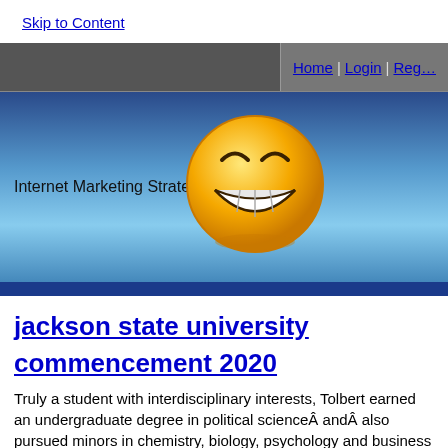Skip to Content
Home | Login | Reg…
[Figure (screenshot): Website banner with blue gradient background, 'Internet Marketing Strategies' text, and a large golden laughing smiley face emoji in the center]
jackson state university commencement 2020
Truly a student with interdisciplinary interests, Tolbert earned an undergraduate degree in political scienceÂ andÂ also pursued minors in chemistry, biology, psychology and business during her